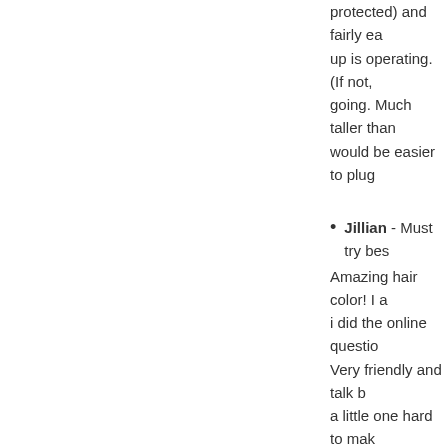protected) and fairly ea up is operating. (If not, going. Much taller than would be easier to plug
Jillian - Must try bes Amazing hair color! I a i did the online questio Very friendly and talk b a little one hard to mak before too and normall
George Rye - best fits as a perfect replace support this product.
Gyns - I love this ga